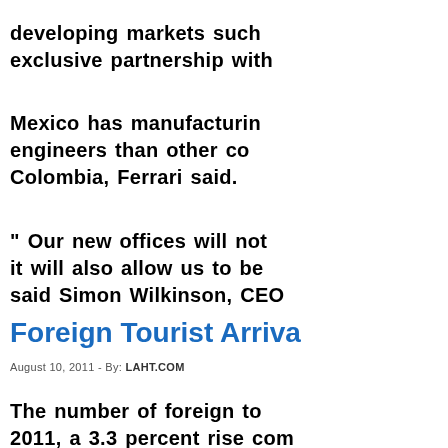developing markets such exclusive partnership with
Mexico has manufacturing engineers than other co Colombia, Ferrari said.
" Our new offices will not it will also allow us to be said Simon Wilkinson, CEO
Foreign Tourist Arriva
August 10, 2011 - By: LAHT.COM
The number of foreign to 2011, a 3.3 percent rise com ministry reported.
Between January and Ju percent compared to the s